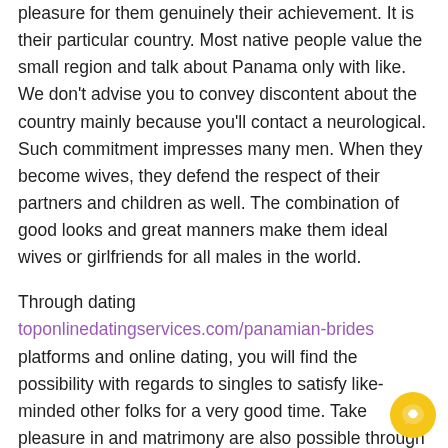pleasure for them genuinely their achievement. It is their particular country. Most native people value the small region and talk about Panama only with like. We don't advise you to convey discontent about the country mainly because you'll contact a neurological. Such commitment impresses many men. When they become wives, they defend the respect of their partners and children as well. The combination of good looks and great manners make them ideal wives or girlfriends for all males in the world.
Through dating toponlinedatingservices.com/panamian-brides platforms and online dating, you will find the possibility with regards to singles to satisfy like-minded other folks for a very good time. Take pleasure in and matrimony are also possible through dating online. Your life can alter once you enter a mail